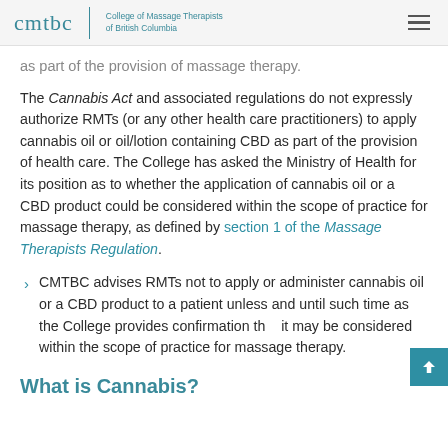cmtbc | College of Massage Therapists of British Columbia
as part of the provision of massage therapy.
The Cannabis Act and associated regulations do not expressly authorize RMTs (or any other health care practitioners) to apply cannabis oil or oil/lotion containing CBD as part of the provision of health care. The College has asked the Ministry of Health for its position as to whether the application of cannabis oil or a CBD product could be considered within the scope of practice for massage therapy, as defined by section 1 of the Massage Therapists Regulation.
CMTBC advises RMTs not to apply or administer cannabis oil or a CBD product to a patient unless and until such time as the College provides confirmation that it may be considered within the scope of practice for massage therapy.
What is Cannabis?